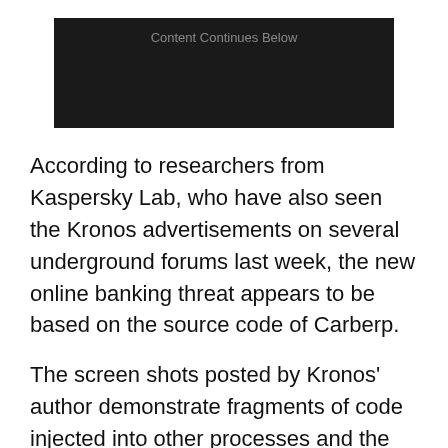[Figure (other): Dark advertisement banner with text 'Content Continues Below']
According to researchers from Kaspersky Lab, who have also seen the Kronos advertisements on several underground forums last week, the new online banking threat appears to be based on the source code of Carberp.
The screen shots posted by Kronos' author demonstrate fragments of code injected into other processes and the code looks pretty similar to Carberp's, said Dmitry Tarakanov, senior security researcher at Kaspersky Lab, Monday